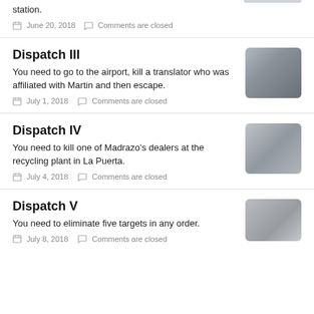station.
June 20, 2018   Comments are closed
Dispatch III
You need to go to the airport, kill a translator who was affiliated with Martin and then escape.
July 1, 2018   Comments are closed
[Figure (photo): Thumbnail image for Dispatch III]
Dispatch IV
You need to kill one of Madrazo's dealers at the recycling plant in La Puerta.
July 4, 2018   Comments are closed
[Figure (photo): Thumbnail image for Dispatch IV]
Dispatch V
You need to eliminate five targets in any order.
July 8, 2018   Comments are closed
[Figure (photo): Thumbnail image for Dispatch V]